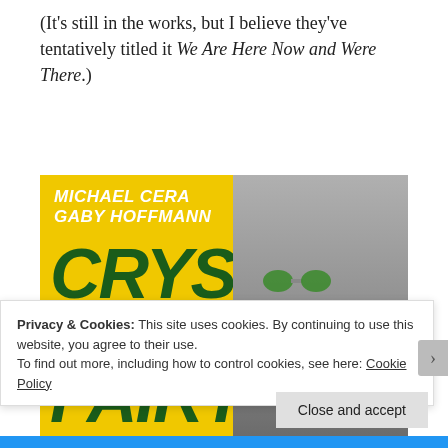(It's still in the works, but I believe they've tentatively titled it We Are Here Now and Were There.)
[Figure (photo): Movie poster for 'Crystal Fairy & The Magical' featuring Michael Cera and Gaby Hoffmann. Yellow background with large dark green italic text reading CRYSTAL FAIRY & THE MAGICAL. Actor with wild hair and green reflective sunglasses holding a large cucumber/cactus. Quote: 'A hilarious drug-fueled road movie... Michael Cera is terrific.']
Privacy & Cookies: This site uses cookies. By continuing to use this website, you agree to their use.
To find out more, including how to control cookies, see here: Cookie Policy
Close and accept